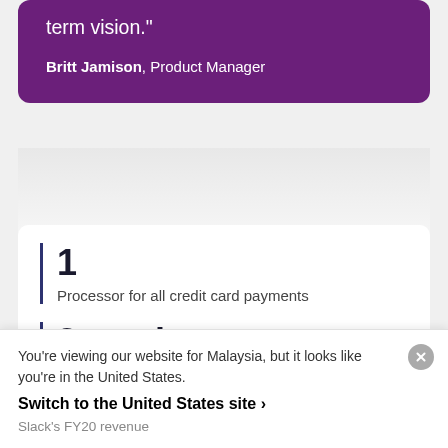term vision.”
Britt Jamison, Product Manager
1
Processor for all credit card payments
2 weeks
You’re viewing our website for Malaysia, but it looks like you’re in the United States.
Switch to the United States site ›
Slack’s FY20 revenue